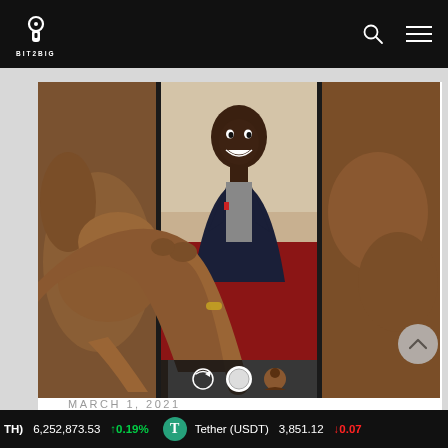BIT2BIG
[Figure (photo): A man in a dark blazer pointing his finger toward the camera, shown on a smartphone screen being held by two hands, with phone camera UI visible at the bottom.]
MARCH 1, 2021
(TH) 6,252,873.53 ↑0.19% Tether (USDT) 3,851.12 ↓0.07